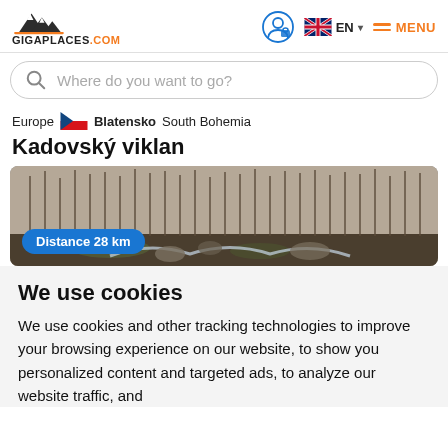GIGAPLACES.COM — EN MENU (navigation header with logo, user icon, language selector, menu)
Where do you want to go?
Europe  Blatensko  South Bohemia
Kadovský viklan
[Figure (photo): Forest landscape with stream and rocks. Badge overlay reads: Distance 28 km]
We use cookies
We use cookies and other tracking technologies to improve your browsing experience on our website, to show you personalized content and targeted ads, to analyze our website traffic, and